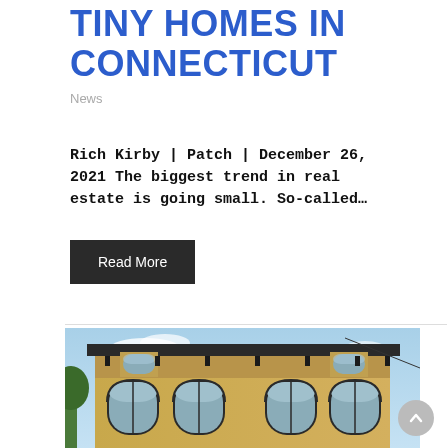TINY HOMES IN CONNECTICUT
News
Rich Kirby | Patch | December 26, 2021 The biggest trend in real estate is going small. So-called...
Read More
[Figure (photo): Photograph of a yellow brick Victorian-style building with arched windows and decorative brackets under the roofline, against a blue sky.]